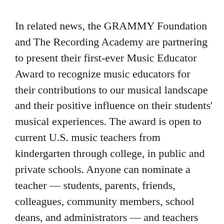In related news, the GRAMMY Foundation and The Recording Academy are partnering to present their first-ever Music Educator Award to recognize music educators for their contributions to our musical landscape and their positive influence on their students' musical experiences. The award is open to current U.S. music teachers from kindergarten through college, in public and private schools. Anyone can nominate a teacher — students, parents, friends, colleagues, community members, school deans, and administrators — and teachers are also able to nominate themselves. Nominated teachers will be notified and invited to fill out an application. One winner will be selected from 10 finalists each year to be recognized for their remarkable impact on their students' lives. The first award will be presented during GRAMMY® Week